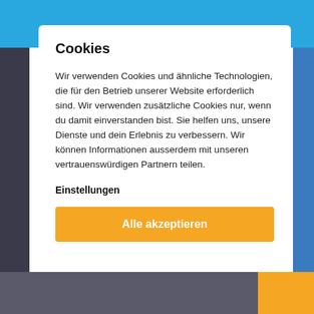Cookies
Wir verwenden Cookies und ähnliche Technologien, die für den Betrieb unserer Website erforderlich sind. Wir verwenden zusätzliche Cookies nur, wenn du damit einverstanden bist. Sie helfen uns, unsere Dienste und dein Erlebnis zu verbessern. Wir können Informationen ausserdem mit unseren vertrauenswürdigen Partnern teilen.
Einstellungen
Alle akzeptieren